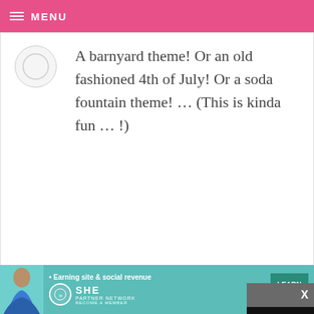MENU
A barnyard theme! Or an old fashioned 4th of July! Or a soda fountain theme! … (This is kinda fun … !)
YAJAYRA
AM  REPLY
I can't wa… comic su…
[Figure (screenshot): Video player overlay showing a black screen with play button, progress bar at 13:52, and controls including mute, CC, grid, settings, and fullscreen buttons]
[Figure (infographic): Advertisement banner for SHE Partner Network: Earning site & social revenue. Shows a woman, SHE logo, LEARN MORE button on teal background]